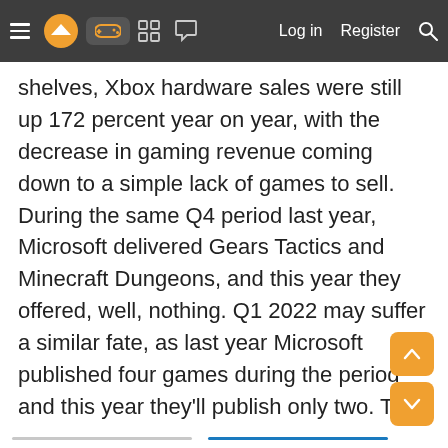Navigation bar with menu, logo, gamepad icon, grid icon, chat icon, Log in, Register, Search
shelves, Xbox hardware sales were still up 172 percent year on year, with the decrease in gaming revenue coming down to a simple lack of games to sell. During the same Q4 period last year, Microsoft delivered Gears Tactics and Minecraft Dungeons, and this year they offered, well, nothing. Q1 2022 may suffer a similar fate, as last year Microsoft published four games during the period and this year they'll publish only two. That said, those two titles are strong ones (Psychonauts 2 and Age of Empires IV) and perhaps Microsoft will be able to get more Xbox Series consoles to retailers.